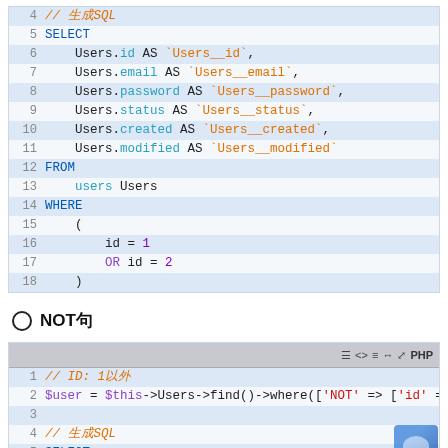[Figure (screenshot): Code block showing SQL SELECT query with line numbers 4-18. Lines show SELECT statement with Users table columns aliased, FROM users Users, WHERE clause with id=1 OR id=2.]
NOT句
[Figure (screenshot): Code block with PHP toolbar showing PHP code finding users with NOT condition and the resulting SQL query starting at line 1-6.]